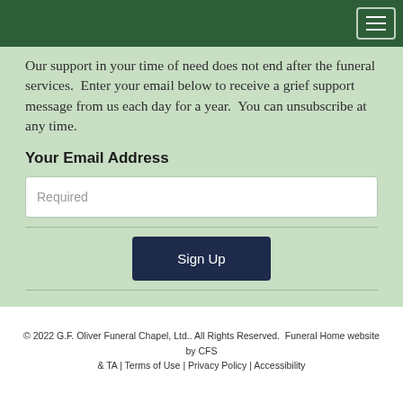Our support in your time of need does not end after the funeral services.  Enter your email below to receive a grief support message from us each day for a year.  You can unsubscribe at any time.
Your Email Address
Required
Sign Up
© 2022 G.F. Oliver Funeral Chapel, Ltd.. All Rights Reserved.  Funeral Home website by CFS & TA | Terms of Use | Privacy Policy | Accessibility